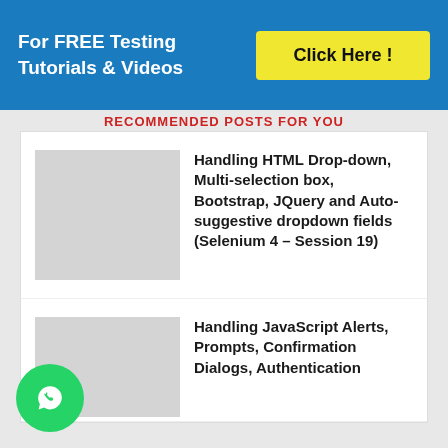For FREE Testing Tutorials & Videos
Click Here !
RECOMMENDED POSTS FOR YOU
Handling HTML Drop-down, Multi-selection box, Bootstrap, JQuery and Auto-suggestive dropdown fields (Selenium 4 – Session 19)
Handling JavaScript Alerts, Prompts, Confirmation Dialogs, Authentication